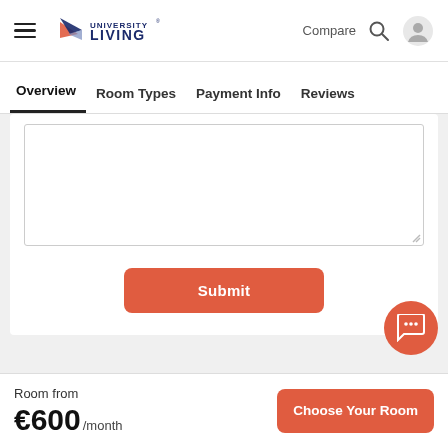[Figure (screenshot): University Living website header with hamburger menu, logo, Compare text, search icon, and user icon]
Overview  Room Types  Payment Info  Reviews
[Figure (screenshot): Text area input box (empty) for user review submission]
Submit
[Figure (other): Chat bubble icon (coral/salmon colored circle with speech bubble dots)]
Room from
€600/month
Choose Your Room